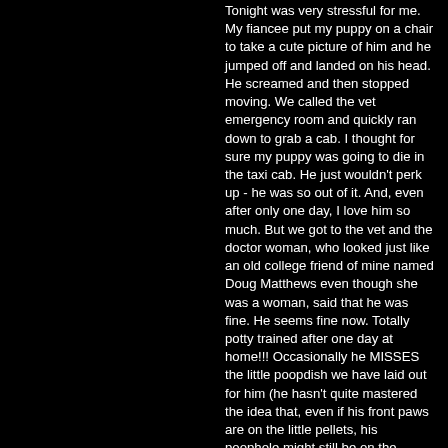Tonight was very stressful for me. My fiancee put my puppy on a chair to take a cute picture of him and he jumped off and landed on his head. He screamed and then stopped moving. We called the vet emergency room and quickly ran down to grab a cab. I thought for sure my puppy was going to die in the taxi cab. He just wouldn't perk up - he was so out of it. And, even after only one day, I love him so much. But we got to the vet and the doctor woman, who looked just like an old college friend of mine named Doug Matthews even though she was a woman, said that he was fine. He seems fine now. Totally potty trained after one day at home!!! Occasionally he MISSES the little poopdish we have laid out for him (he hasn't quite mastered the idea that, even if his front paws are on the little pellets, his poophole might still be on the outside floor!), but he always tries and he always whines to let us know he has to go out. He is such a special little fellow! Everyone who sees him thinks so.